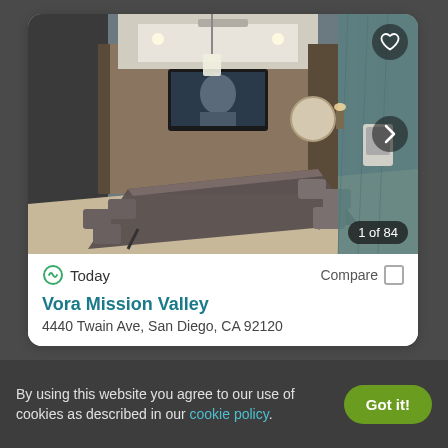[Figure (photo): Interior photo of a conference room with a long dark table, office chairs, wall-mounted TV, pendant lighting, and wood-paneled walls. Image carousel showing 1 of 84 photos.]
Today
Compare
Vora Mission Valley
4440 Twain Ave, San Diego, CA 92120
By using this website you agree to our use of cookies as described in our cookie policy.
Got it!